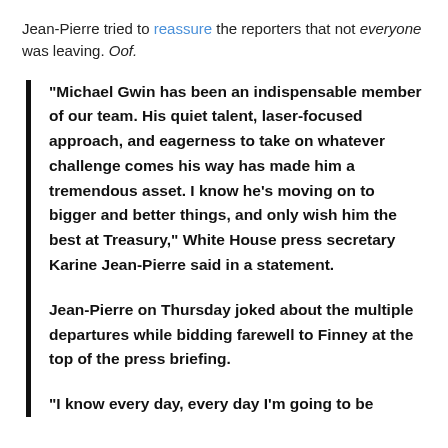Jean-Pierre tried to reassure the reporters that not everyone was leaving. Oof.
“Michael Gwin has been an indispensable member of our team. His quiet talent, laser-focused approach, and eagerness to take on whatever challenge comes his way has made him a tremendous asset. I know he’s moving on to bigger and better things, and only wish him the best at Treasury,” White House press secretary Karine Jean-Pierre said in a statement.
Jean-Pierre on Thursday joked about the multiple departures while bidding farewell to Finney at the top of the press briefing.
“I know every day, every day I’m going to be